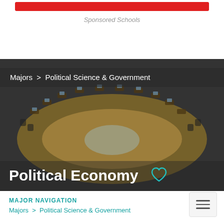[Figure (other): Red button/banner at top of page]
Sponsored Schools
[Figure (photo): Aerial view of a circular legislative chamber with wooden desks and laptops arranged in a semicircle]
Majors  >  Political Science & Government
Political Economy
MAJOR NAVIGATION
Majors  >  Political Science & Government